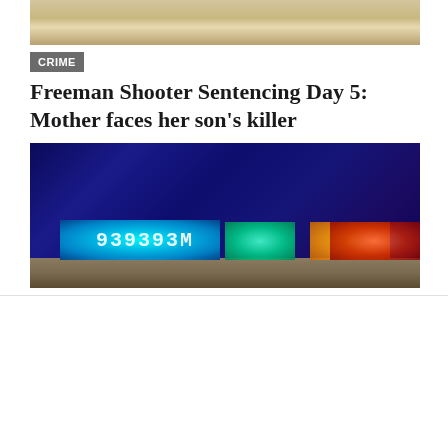[Figure (photo): Top portion of a photo showing people, partially cropped]
CRIME
Freeman Shooter Sentencing Day 5: Mother faces her son's killer
[Figure (photo): Close-up of police car light bar with cyan, green, amber, and red lights illuminated against a dark blue background]
By clicking “Accept All Cookies”, you agree to the storing of cookies on your device to enhance site navigation, analyze site usage, and assist in our marketing efforts.
Cookies Settings
Accept All Cookies